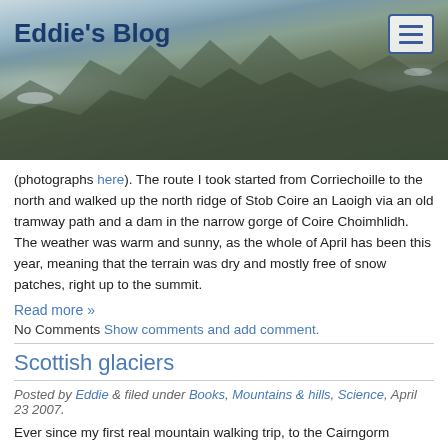[Figure (photo): Mountain landscape banner photo with blue sky and snow-capped peaks]
Eddie's Blog
(photographs here). The route I took started from Corriechoille to the north and walked up the north ridge of Stob Coire an Laoigh via an old tramway path and a dam in the narrow gorge of Coire Choimhlidh. The weather was warm and sunny, as the whole of April has been this year, meaning that the terrain was dry and mostly free of snow patches, right up to the summit.
Read more »
No Comments Show comments and add comment.
Scottish glaciers
Posted by Eddie & filed under Books, Mountains & hills, Science, April 23 2007.
Ever since my first real mountain walking trip, to the Cairngorm plateau, I have been fascinated by the idea that in Scotland there